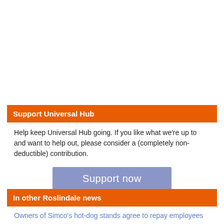Support Universal Hub
Help keep Universal Hub going. If you like what we're up to and want to help out, please consider a (completely non-deductible) contribution.
[Figure (other): Blue-purple button labeled 'Support now']
In other Roslindale news
Owners of Simco's hot-dog stands agree to repay employees